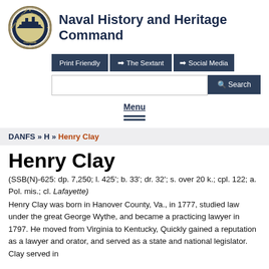Naval History and Heritage Command
Print Friendly | The Sextant | Social Media | Search
Menu
DANFS » H » Henry Clay
Henry Clay
(SSB(N)-625: dp. 7,250; l. 425'; b. 33'; dr. 32'; s. over 20 k.; cpl. 122; a. Pol. mis.; cl. Lafayette)
Henry Clay was born in Hanover County, Va., in 1777, studied law under the great George Wythe, and became a practicing lawyer in 1797. He moved from Virginia to Kentucky, Quickly gained a reputation as a lawyer and orator, and served as a state and national legislator. Clay served in